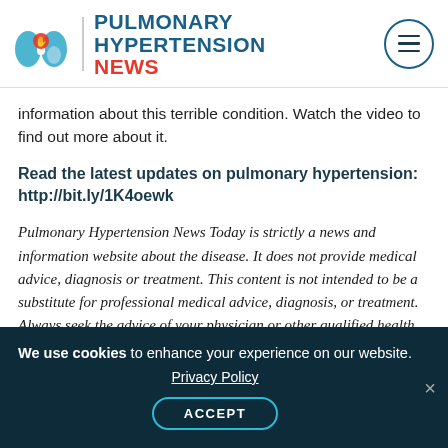Pulmonary Hypertension News
information about this terrible condition. Watch the video to find out more about it.
Read the latest updates on pulmonary hypertension: http://bit.ly/1K4oewk
Pulmonary Hypertension News Today is strictly a news and information website about the disease. It does not provide medical advice, diagnosis or treatment. This content is not intended to be a substitute for professional medical advice, diagnosis, or treatment. Always seek the advice of your physician or other qualified health provider
We use cookies to enhance your experience on our website. Privacy Policy ACCEPT